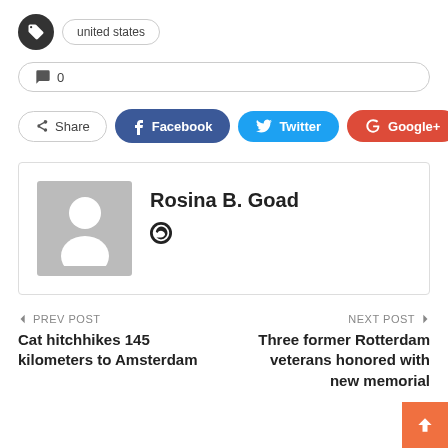united states
0
Share  Facebook  Twitter  Google+  +
Rosina B. Goad
← PREV POST
Cat hitchhikes 145 kilometers to Amsterdam
NEXT POST →
Three former Rotterdam veterans honored with new memorial